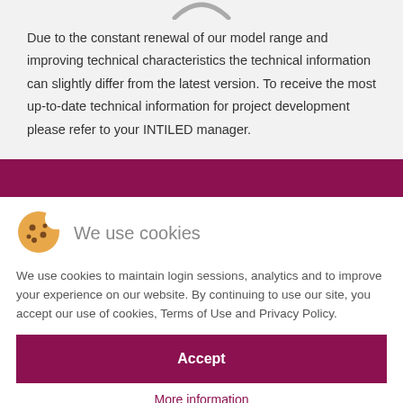[Figure (logo): Partial circular logo graphic at top, grey arc shape]
Due to the constant renewal of our model range and improving technical characteristics the technical information can slightly differ from the latest version. To receive the most up-to-date technical information for project development please refer to your INTILED manager.
We use cookies
We use cookies to maintain login sessions, analytics and to improve your experience on our website. By continuing to use our site, you accept our use of cookies, Terms of Use and Privacy Policy.
Accept
More information